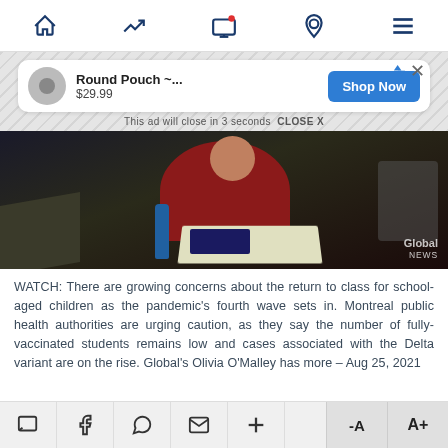[Navigation bar: home, trending, TV/notifications, location, menu]
[Figure (screenshot): Mobile ad banner showing 'Round Pouch ~...' product at $29.99 with Shop Now button on blue. Ad close icons top right. Text below: 'This ad will close in 3 seconds CLOSE X']
[Figure (photo): Dark video thumbnail showing a school child in a red top sitting at a desk with a blue water bottle and open book. Global News watermark bottom right.]
WATCH: There are growing concerns about the return to class for school-aged children as the pandemic's fourth wave sets in. Montreal public health authorities are urging caution, as they say the number of fully-vaccinated students remains low and cases associated with the Delta variant are on the rise. Global's Olivia O'Malley has more – Aug 25, 2021
[Bottom toolbar: comment, Facebook, WhatsApp, email, plus, -A, A+]